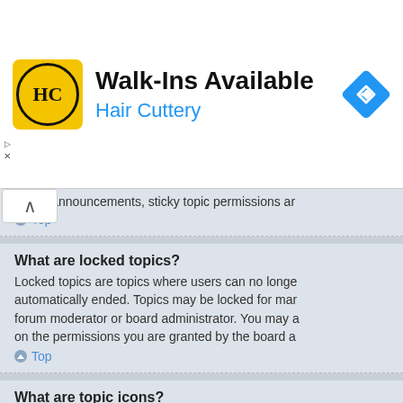[Figure (infographic): Hair Cuttery advertisement banner with yellow logo showing HC letters in circle, title 'Walk-Ins Available', subtitle 'Hair Cuttery', and blue diamond navigation icon]
global announcements, sticky topic permissions ar
Top
What are locked topics?
Locked topics are topics where users can no longe automatically ended. Topics may be locked for mar forum moderator or board administrator. You may a on the permissions you are granted by the board a
Top
What are topic icons?
Topic icons are author chosen images associated w use topic icons depends on the permissions set by
Top
User Levels and Groups